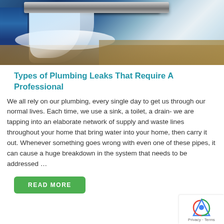[Figure (photo): Close-up photo of water spraying from a plumbing pipe leak, with blue pipe fitting and water splashing onto surrounding material]
Types of Plumbing Leaks That Require A Professional
We all rely on our plumbing, every single day to get us through our normal lives. Each time, we use a sink, a toilet, a drain- we are tapping into an elaborate network of supply and waste lines throughout your home that bring water into your home, then carry it out. Whenever something goes wrong with even one of these pipes, it can cause a huge breakdown in the system that needs to be addressed …
READ MORE